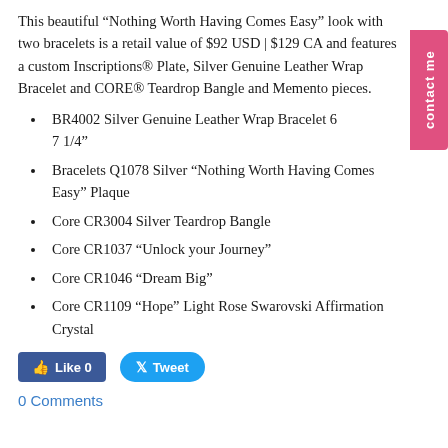This beautiful “Nothing Worth Having Comes Easy” look with two bracelets is a retail value of $92 USD | $129 CA and features a custom Inscriptions® Plate, Silver Genuine Leather Wrap Bracelet and CORE® Teardrop Bangle and Memento pieces.
BR4002 Silver Genuine Leather Wrap Bracelet 6 7 1/4"
Bracelets Q1078 Silver “Nothing Worth Having Comes Easy” Plaque
Core CR3004 Silver Teardrop Bangle
Core CR1037 “Unlock your Journey”
Core CR1046 “Dream Big”
Core CR1109 “Hope” Light Rose Swarovski Affirmation Crystal
Like 0   Tweet
0 Comments